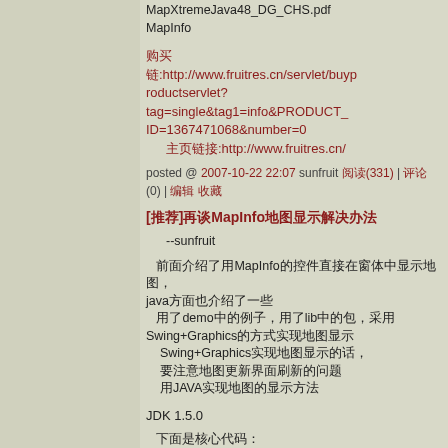MapXtremeJava48_DG_CHS.pdf　　MapInfo
购买
链:http://www.fruitres.cn/servlet/buyproductservlet?tag=single&tag1=info&PRODUCT_ID=1367471068&number=0
主页链接:http://www.fruitres.cn/
posted @ 2007-10-22 22:07 sunfruit 阅读(331) | 评论(0) | 编辑 收藏
[推荐]再谈MapInfo地图显示解决办法
--sunfruit
前面介绍了用MapInfo的控件直接在窗体中显示地图，java方面也介绍了一些
用了demo中的例子，用了lib中的包，采用Swing+Graphics的方式实现地图显示
Swing+Graphics实现地图显示的话，
要注意地图更新界面刷新的问题
用JAVA实现地图的显示方法
JDK 1.5.0
下面是核心代码：
            代码如下: